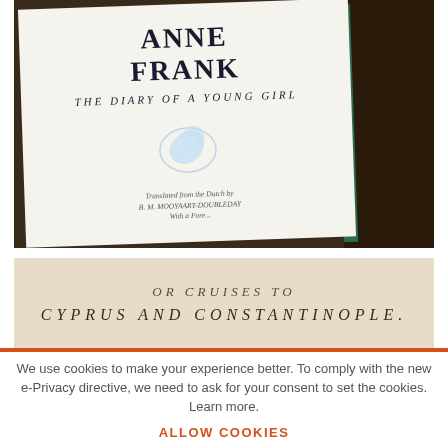[Figure (photo): Photo of the title page of 'Anne Frank: The Diary of a Young Girl' book lying open, showing the title in large serif font, subtitle in italic spaced letters, a small illustration, and credits. The book has a green spine and is resting on a dark wooden surface.]
[Figure (photo): Photo of an old book page showing the text 'OR CRUISES TO' and 'CYPRUS AND CONSTANTINOPLE.' in italic spaced serif font on aged cream paper.]
We use cookies to make your experience better. To comply with the new e-Privacy directive, we need to ask for your consent to set the cookies. Learn more.
ALLOW COOKIES